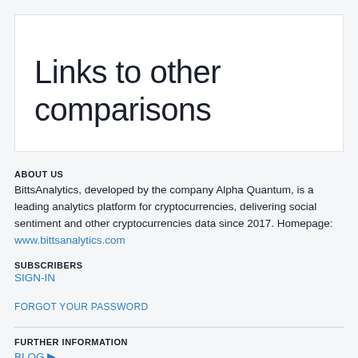Links to other comparisons
ABOUT US
BittsAnalytics, developed by the company Alpha Quantum, is a leading analytics platform for cryptocurrencies, delivering social sentiment and other cryptocurrencies data since 2017. Homepage: www.bittsanalytics.com
SUBSCRIBERS
SIGN-IN
FORGOT YOUR PASSWORD
FURTHER INFORMATION
BLOG ▶